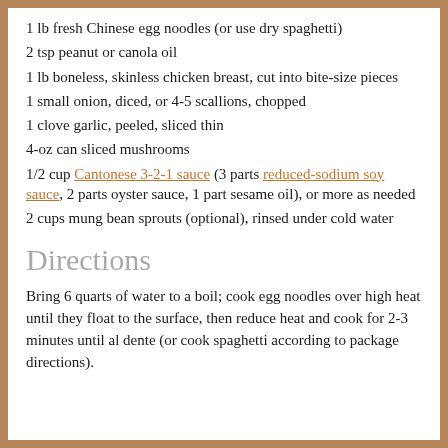1 lb fresh Chinese egg noodles (or use dry spaghetti)
2 tsp peanut or canola oil
1 lb boneless, skinless chicken breast, cut into bite-size pieces
1 small onion, diced, or 4-5 scallions, chopped
1 clove garlic, peeled, sliced thin
4-oz can sliced mushrooms
1/2 cup Cantonese 3-2-1 sauce (3 parts reduced-sodium soy sauce, 2 parts oyster sauce, 1 part sesame oil), or more as needed
2 cups mung bean sprouts (optional), rinsed under cold water
Directions
Bring 6 quarts of water to a boil; cook egg noodles over high heat until they float to the surface, then reduce heat and cook for 2-3 minutes until al dente (or cook spaghetti according to package directions).